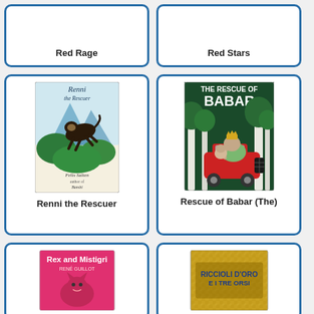[Figure (illustration): Book card for 'Red Rage' — top portion of card visible, white background with blue border, title text at bottom]
Red Rage
[Figure (illustration): Book card for 'Red Stars' — top portion of card visible, white background with blue border, title text at bottom]
Red Stars
[Figure (illustration): Book card for 'Renni the Rescuer' by Felix Salten — full card with cover image of a dog running through jungle foliage]
Renni the Rescuer
[Figure (illustration): Book card for 'Rescue of Babar (The)' — full card with cover showing elephant in crown driving a red car through forest]
Rescue of Babar (The)
[Figure (illustration): Book card for 'Rex and Mistigri' by René Guillot — partial bottom card with pink cover showing animal illustration]
[Figure (illustration): Book card for 'Riccioli d'Oro e i Tre Orsi' — partial bottom card with golden/yellow decorative cover]